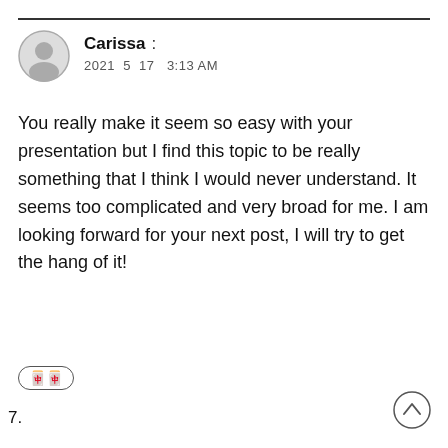Carissa : 2021 5 17 3:13 AM
You really make it seem so easy with your presentation but I find this topic to be really something that I think I would never understand. It seems too complicated and very broad for me. I am looking forward for your next post, I will try to get the hang of it!
🀄🀄
7.